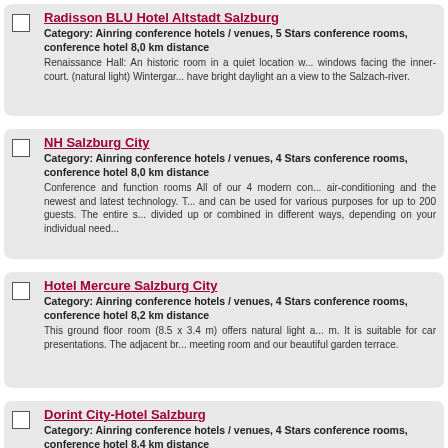Radisson BLU Hotel Altstadt Salzburg
Category: Ainring conference hotels / venues, 5 Stars conference rooms, conference hotel 8,0 km distance
Renaissance Hall: An historic room in a quiet location with windows facing the inner- court. (natural light) Wintergar... have bright daylight an a view to the Salzach-river.
NH Salzburg City
Category: Ainring conference hotels / venues, 4 Stars conference rooms, conference hotel 8,0 km distance
Conference and function rooms All of our 4 modern con... air-conditioning and the newest and latest technology. T... and can be used for various purposes for up to 200 guests. The entire s... divided up or combined in different ways, depending on your individual need...
Hotel Mercure Salzburg City
Category: Ainring conference hotels / venues, 4 Stars conference rooms, conference hotel 8,2 km distance
This ground floor room (8.5 x 3.4 m) offers natural light a... m. It is suitable for car presentations. The adjacent br... meeting room and our beautiful garden terrace.
Dorint City-Hotel Salzburg
Category: Ainring conference hotels / venues, 4 Stars conference rooms, conference hotel 8,4 km distance
The event room on the first floor, with direct access to th...